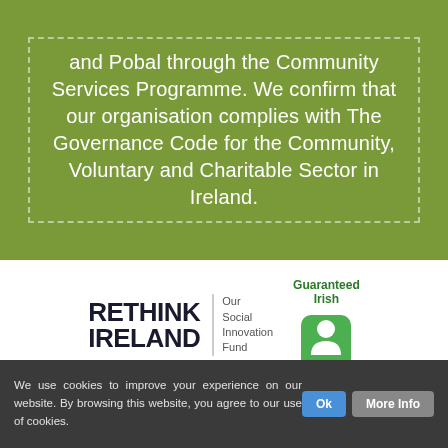and Pobal through the Community Services Programme. We confirm that our organisation complies with The Governance Code for the Community, Voluntary and Charitable Sector in Ireland.
[Figure (logo): Rethink Ireland Our Social Innovation Fund logo and Guaranteed Irish logo]
[Figure (logo): Department of Agriculture, Food and the Marine logo (partially visible)]
We use cookies to improve your experience on our website. By browsing this website, you agree to our use of cookies.